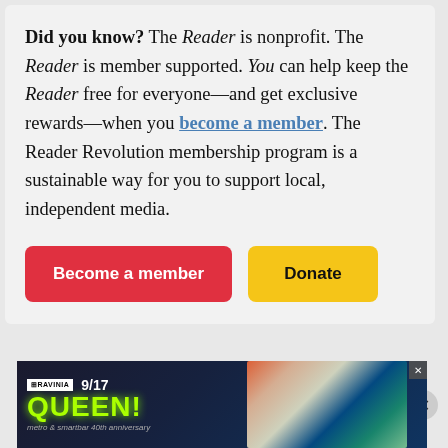Did you know? The Reader is nonprofit. The Reader is member supported. You can help keep the Reader free for everyone—and get exclusive rewards—when you become a member. The Reader Revolution membership program is a sustainable way for you to support local, independent media.
[Figure (other): Red 'Become a member' button and yellow 'Donate' button side by side]
[Figure (other): Ravinia advertisement banner: QUEEN! 9/17, metro & smartbar 40th anniversary, colorful concert graphic]